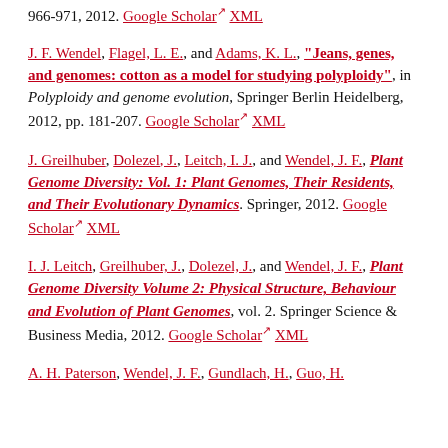966-971, 2012. Google Scholar XML
J. F. Wendel, Flagel, L. E., and Adams, K. L., "Jeans, genes, and genomes: cotton as a model for studying polyploidy", in Polyploidy and genome evolution, Springer Berlin Heidelberg, 2012, pp. 181-207. Google Scholar XML
J. Greilhuber, Dolezel, J., Leitch, I. J., and Wendel, J. F., Plant Genome Diversity: Vol. 1: Plant Genomes, Their Residents, and Their Evolutionary Dynamics. Springer, 2012. Google Scholar XML
I. J. Leitch, Greilhuber, J., Dolezel, J., and Wendel, J. F., Plant Genome Diversity Volume 2: Physical Structure, Behaviour and Evolution of Plant Genomes, vol. 2. Springer Science & Business Media, 2012. Google Scholar XML
A. H. Paterson, Wendel, J. F., Gundlach, H., Guo, H.